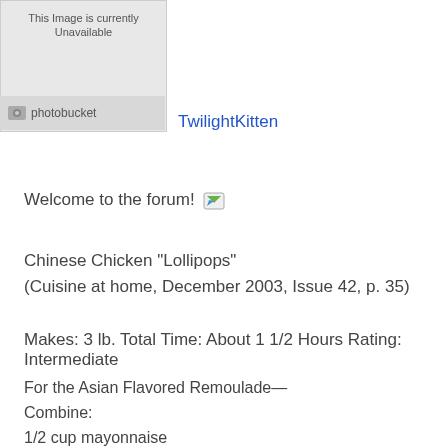[Figure (photo): Photobucket placeholder image showing 'This Image is currently Unavailable' with photobucket logo bar]
TwilightKitten
Welcome to the forum!
Chinese Chicken "Lollipops"
(Cuisine at home, December 2003, Issue 42, p. 35)
Makes: 3 lb. Total Time: About 1 1/2 Hours Rating: Intermediate
For the Asian Flavored Remoulade—
Combine:
1/2 cup mayonnaise
1/4 cup scallions, minced
1/4 cup red bell pepper, diced
1/4 cup chopped fresh cilantro
1 T. garlic, minced
1 T. fresh ginger, minced
1 T. fresh lime juice